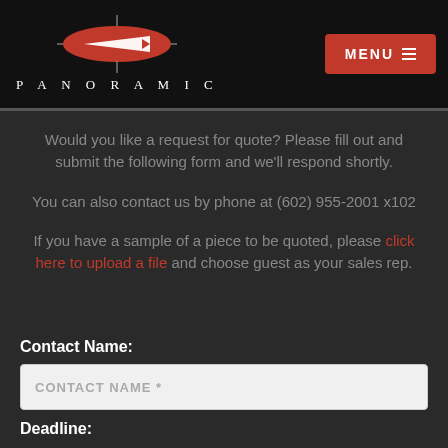[Figure (logo): Panoramic logo with red oval/ellipse containing a white arrow/pen shape, horizontal lines extending from both sides, and 'PANORAMIC' text in spaced caps below]
MENU ☰
Would you like a request for quote? Please fill out and submit the following form and we'll respond shortly.
You can also contact us by phone at (602) 955-2001 x102
If you have a sample of a piece to be quoted, please click here to upload a file and choose guest as your sales rep.
Contact Name:
CONTACT NAME *
Deadline: